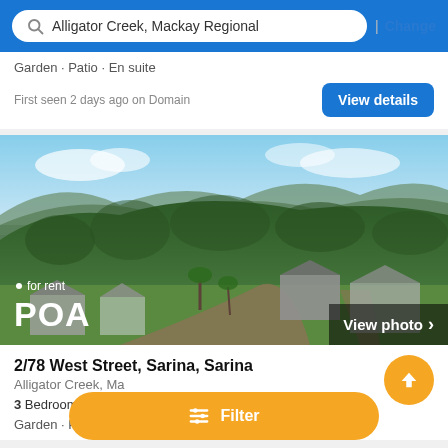Alligator Creek, Mackay Regional | Change
Garden · Patio · En suite
First seen 2 days ago on Domain
[Figure (photo): Aerial drone photo of a residential suburb with green hills in background, showing houses, roads and lush tropical vegetation. Price overlay: 'for rent POA'. View photo button in bottom-right.]
2/78 West Street, Sarina, Sarina
Alligator Creek, Mackay Regional
3 Bedrooms
Garden · Patio · Cul-de-Sac · En suite